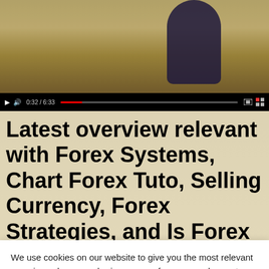[Figure (screenshot): Video player showing a person in front of a colorful forex-themed background. Controls show play button, volume, time 0:32 / 6:33, and video settings icons.]
Latest overview relevant with Forex Systems, Chart Forex Tuto, Selling Currency, Forex Strategies, and Is Forex Trading Bad, IS FOREX TRADING A
We use cookies on our website to give you the most relevant experience by remembering your preferences and repeat visits. By clicking "Accept All", you consent to the use of ALL the cookies. However, you may visit "Cookie Settings" to provide a controlled consent.